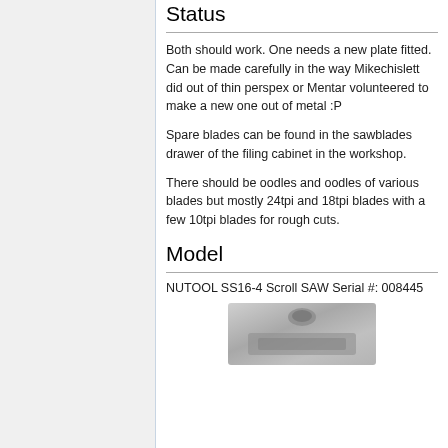Status
Both should work. One needs a new plate fitted. Can be made carefully in the way Mikechislett did out of thin perspex or Mentar volunteered to make a new one out of metal :P
Spare blades can be found in the sawblades drawer of the filing cabinet in the workshop.
There should be oodles and oodles of various blades but mostly 24tpi and 18tpi blades with a few 10tpi blades for rough cuts.
Model
NUTOOL SS16-4 Scroll SAW Serial #: 008445
[Figure (photo): Partial photograph of a NUTOOL SS16-4 Scroll SAW, showing a grey metal component of the saw.]